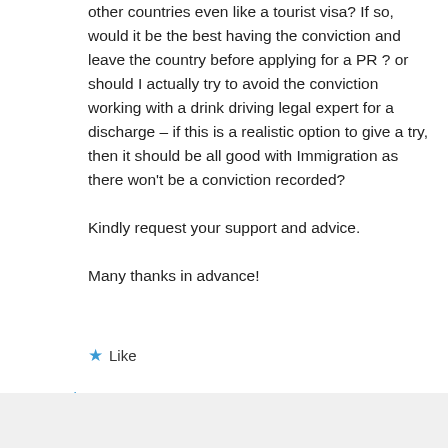other countries even like a tourist visa? If so, would it be the best having the conviction and leave the country before applying for a PR ? or should I actually try to avoid the conviction working with a drink driving legal expert for a discharge – if this is a realistic option to give a try, then it should be all good with Immigration as there won't be a conviction recorded?

Kindly request your support and advice.

Many thanks in advance!
★ Like
↳ Reply